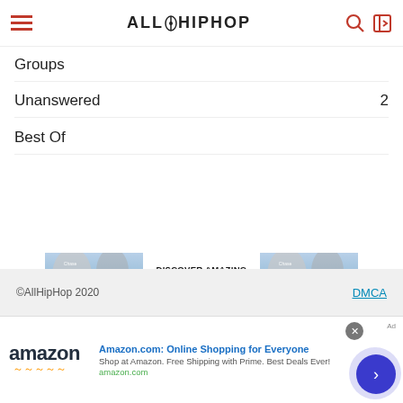AllHipHop
Groups
Unanswered  2
Best Of
[Figure (infographic): Two travel advertisement banners showing Yosemite mountain landscape image on left and right, with center text 'DISCOVER AMAZING TRAVEL SIDESTAGE.COM']
©AllHipHop 2020   DMCA
[Figure (infographic): Amazon advertisement banner: 'Amazon.com: Online Shopping for Everyone' - Shop at Amazon. Free Shipping with Prime. Best Deals Ever! amazon.com]